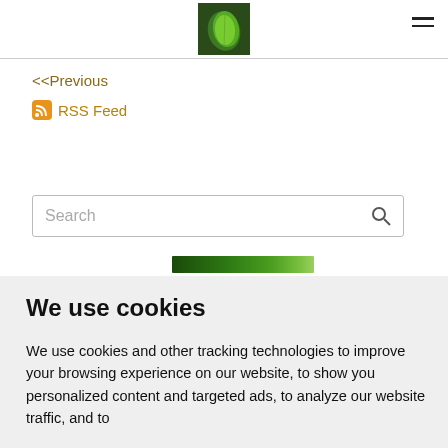[Figure (logo): Green leaf logo image in header]
<<Previous
RSS Feed
Search
We use cookies
We use cookies and other tracking technologies to improve your browsing experience on our website, to show you personalized content and targeted ads, to analyze our website traffic, and to